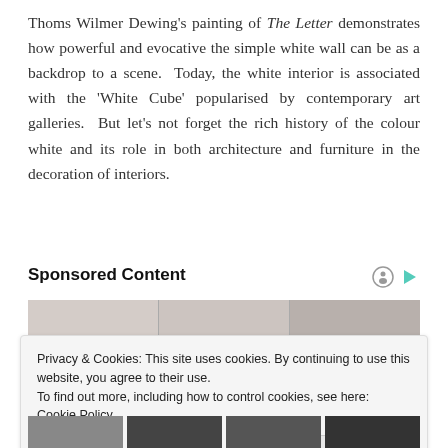Thoms Wilmer Dewing's painting of The Letter demonstrates how powerful and evocative the simple white wall can be as a backdrop to a scene. Today, the white interior is associated with the 'White Cube' popularised by contemporary art galleries. But let's not forget the rich history of the colour white and its role in both architecture and furniture in the decoration of interiors.
Sponsored Content
[Figure (photo): Partial image strip showing interior/furniture photographs used as sponsored content thumbnails]
Privacy & Cookies: This site uses cookies. By continuing to use this website, you agree to their use.
To find out more, including how to control cookies, see here: Cookie Policy
Close and accept
[Figure (photo): Bottom row of sponsored content thumbnail images]